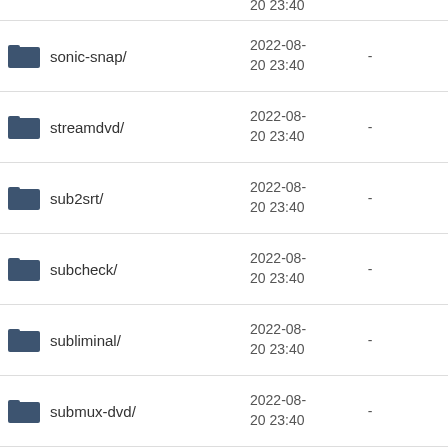sonic-snap/ 2022-08-20 23:40 -
streamdvd/ 2022-08-20 23:40 -
sub2srt/ 2022-08-20 23:40 -
subcheck/ 2022-08-20 23:40 -
subliminal/ 2022-08-20 23:40 -
submux-dvd/ 2022-08-20 23:40 -
subsync/ 2022-08-20 23:40 -
subtitlecomposer/ 2022-08-20 23:40 -